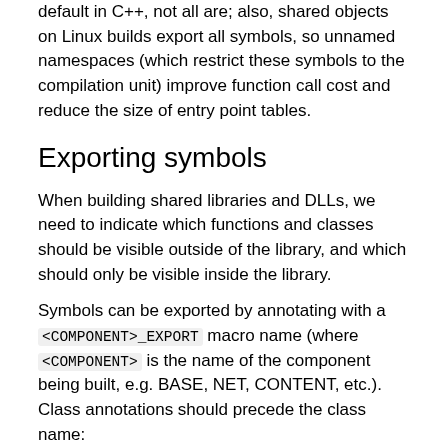default in C++, not all are; also, shared objects on Linux builds export all symbols, so unnamed namespaces (which restrict these symbols to the compilation unit) improve function call cost and reduce the size of entry point tables.
Exporting symbols
When building shared libraries and DLLs, we need to indicate which functions and classes should be visible outside of the library, and which should only be visible inside the library.
Symbols can be exported by annotating with a <COMPONENT>_EXPORT macro name (where <COMPONENT> is the name of the component being built, e.g. BASE, NET, CONTENT, etc.). Class annotations should precede the class name:
class FOO_EXPORT Foo {
    void Bar();
    void Baz();
    // ...
};